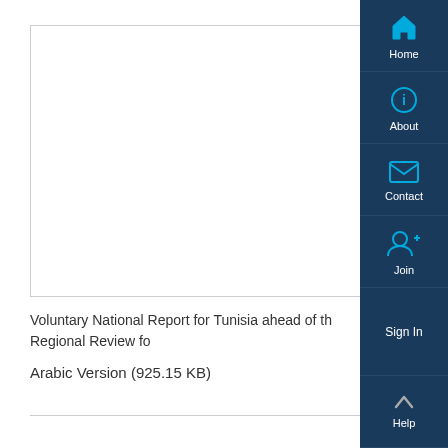[Figure (screenshot): White rectangular box representing a document preview area]
Voluntary National Report for Tunisia ahead of the Regional Review fo
Arabic Version (925.15 KB)
[Figure (infographic): Navigation sidebar with Home, About, Contact, Join, Sign In, and Help buttons on dark navy background with cyan icons]